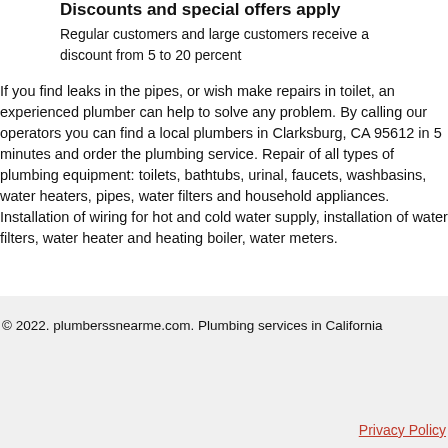Discounts and special offers apply
Regular customers and large customers receive a discount from 5 to 20 percent
If you find leaks in the pipes, or wish make repairs in toilet, an experienced plumber can help to solve any problem. By calling our operators you can find a local plumbers in Clarksburg, CA 95612 in 5 minutes and order the plumbing service. Repair of all types of plumbing equipment: toilets, bathtubs, urinal, faucets, washbasins, water heaters, pipes, water filters and household appliances. Installation of wiring for hot and cold water supply, installation of water filters, water heater and heating boiler, water meters.
© 2022. plumberssnearme.com. Plumbing services in California
Privacy Policy